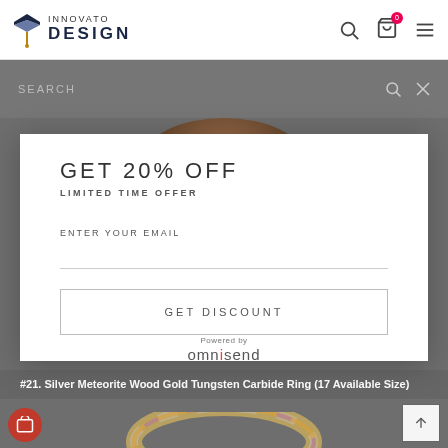[Figure (screenshot): Innovato Design website header with logo and navigation icons (search, cart with badge 0, hamburger menu)]
SEARCH
[Figure (screenshot): Modal popup with promotional offer: GET 20% OFF, LIMITED TIME OFFER, email input field, GET DISCOUNT button, powered by omnisend]
GET 20% OFF
LIMITED TIME OFFER
ENTER YOUR EMAIL
GET DISCOUNT
Powered by omnisend
#21. Silver Meteorite Wood Gold Tungsten Carbide Ring (17 Available Size)